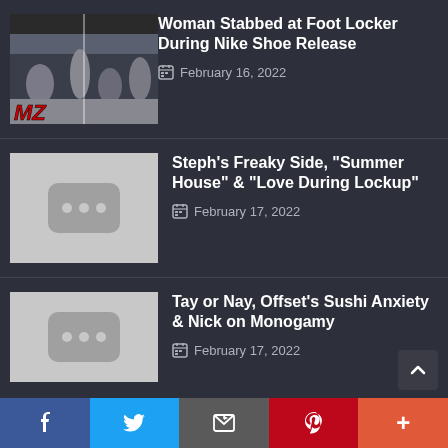[Figure (photo): TMZ thumbnail showing crowd scene outside Foot Locker store]
Woman Stabbed at Foot Locker During Nike Shoe Release
February 16, 2022
[Figure (other): Gray placeholder thumbnail with video icon (three dots)]
Steph's Freaky Side, "Summer House" & "Love During Lockup"
February 17, 2022
[Figure (other): Gray placeholder thumbnail with video icon]
Tay or Nay, Offset's Sushi Anxiety & Nick on Monogamy
February 17, 2022
f  t  [email]  p  +